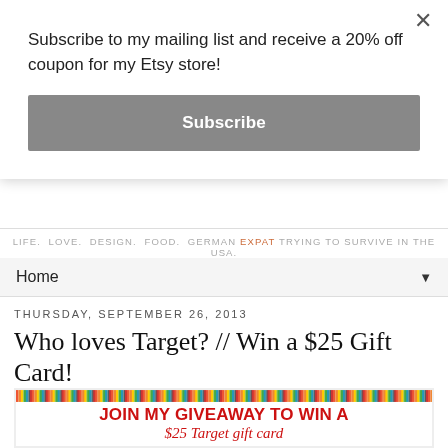Subscribe to my mailing list and receive a 20% off coupon for my Etsy store!
Subscribe
LIFE. LOVE. DESIGN. FOOD. GERMAN EXPAT TRYING TO SURVIVE IN THE USA.
Home ▼
THURSDAY, SEPTEMBER 26, 2013
Who loves Target? // Win a $25 Gift Card!
[Figure (illustration): Giveaway promotional image with diagonal striped border and red text reading 'JOIN MY GIVEAWAY TO WIN A $25 Target gift card']